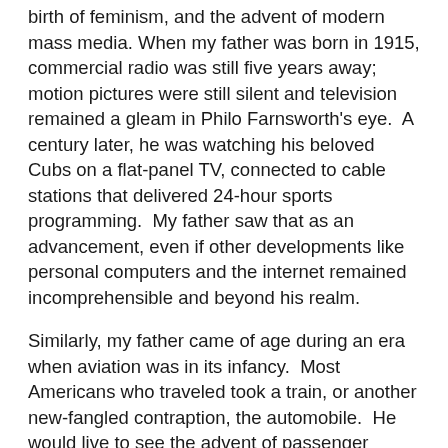birth of feminism, and the advent of modern mass media. When my father was born in 1915, commercial radio was still five years away; motion pictures were still silent and television remained a gleam in Philo Farnsworth's eye.  A century later, he was watching his beloved Cubs on a flat-panel TV, connected to cable stations that delivered 24-hour sports programming.  My father saw that as an advancement, even if other developments like personal computers and the internet remained incomprehensible and beyond his realm.
Similarly, my father came of age during an era when aviation was in its infancy.  Most Americans who traveled took a train, or another new-fangled contraption, the automobile.  He would live to see the advent of passenger flights on a mass scale, enabled by huge jets that could deliver someone to virtually any point on the globe within 24 hours.  My father also lived to see the era of manned space travel, with his fellow countrymen traveling safely between the earth and the moon and back again, not once but multiple times--less than 20 years after President Kennedy vowed to make the voyage.